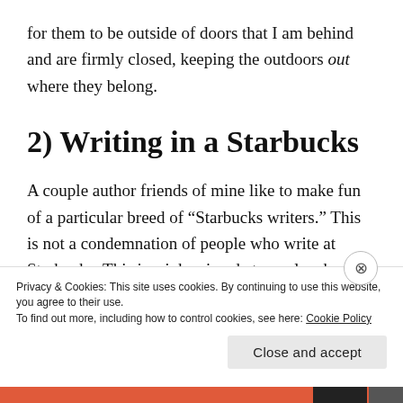for them to be outside of doors that I am behind and are firmly closed, keeping the outdoors out where they belong.
2) Writing in a Starbucks
A couple author friends of mine like to make fun of a particular breed of “Starbucks writers.” This is not a condemnation of people who write at Starbucks. This is a joke aimed at people who go to Starbucks and make it
Privacy & Cookies: This site uses cookies. By continuing to use this website, you agree to their use.
To find out more, including how to control cookies, see here: Cookie Policy